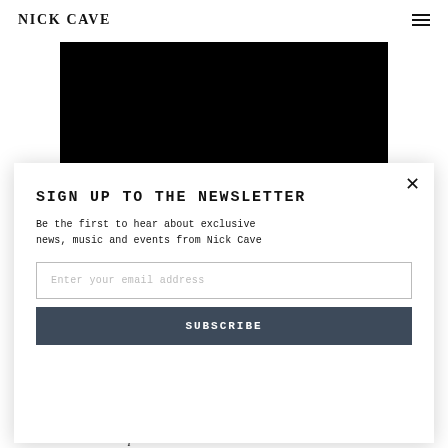NICK CAVE
[Figure (other): Black video thumbnail/player block]
SIGN UP TO THE NEWSLETTER
Be the first to hear about exclusive news, music and events from Nick Cave
Enter your email address
SUBSCRIBE
Ghosteen Speaks